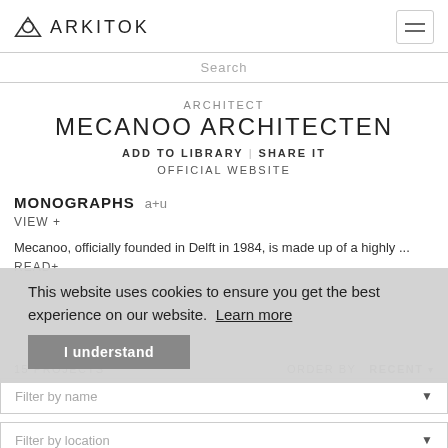ARKITOK
Search
ARCHITECT
MECANOO ARCHITECTEN
ADD TO LIBRARY | SHARE IT
OFFICIAL WEBSITE
MONOGRAPHS a+u
VIEW +
Mecanoo, officially founded in Delft in 1984, is made up of a highly ...
READ+
This website uses cookies to ensure you get the best experience on our website. Learn more
I understand
15 PROJECTS   ORDER BY  RECENT
Filter by name
Filter by location